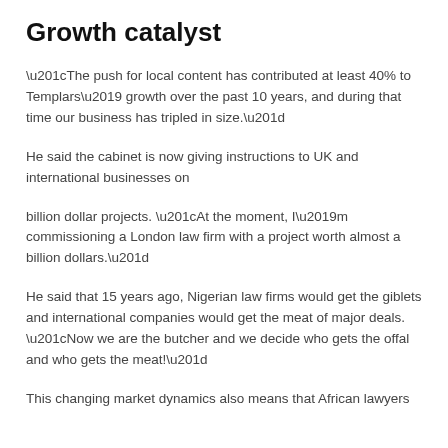Growth catalyst
“The push for local content has contributed at least 40% to Templars’ growth over the past 10 years, and during that time our business has tripled in size.”
He said the cabinet is now giving instructions to UK and international businesses on
billion dollar projects. “At the moment, I’m commissioning a London law firm with a project worth almost a billion dollars.”
He said that 15 years ago, Nigerian law firms would get the giblets and international companies would get the meat of major deals. “Now we are the butcher and we decide who gets the offal and who gets the meat!”
This changing market dynamics also means that African lawyers